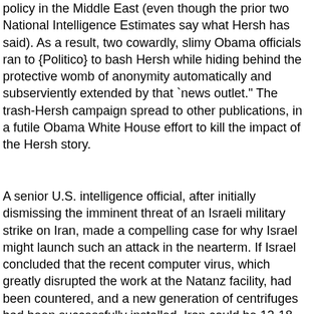policy in the Middle East (even though the prior two National Intelligence Estimates say what Hersh has said). As a result, two cowardly, slimy Obama officials ran to {Politico} to bash Hersh while hiding behind the protective womb of anonymity automatically and subserviently extended by that `news outlet." The trash-Hersh campaign spread to other publications, in a futile Obama White House effort to kill the impact of the Hersh story.
A senior U.S. intelligence official, after initially dismissing the imminent threat of an Israeli military strike on Iran, made a compelling case for why Israel might launch such an attack in the nearterm. If Israel concluded that the recent computer virus, which greatly disrupted the work at the Natanz facility, had been countered, and a new generation of centrifuges had been successfully installed, Iran could be 12-18 months away from a nuclear weapons breakout. That alone would suppress an Israeli institutional resistance to an attack on Iran. The source added that U.S. intelligence believes that Israel's military capabilities have been seriously diminished and that an